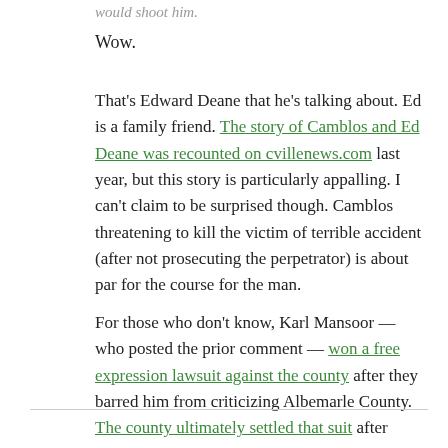would shoot him.
Wow.
That's Edward Deane that he's talking about. Ed is a family friend. The story of Camblos and Ed Deane was recounted on cvillenews.com last year, but this story is particularly appalling. I can't claim to be surprised though. Camblos threatening to kill the victim of terrible accident (after not prosecuting the perpetrator) is about par for the course for the man.
For those who don't know, Karl Mansoor — who posted the prior comment — won a free expression lawsuit against the county after they barred him from criticizing Albemarle County. The county ultimately settled that suit after realizing that appeals would do them no good.